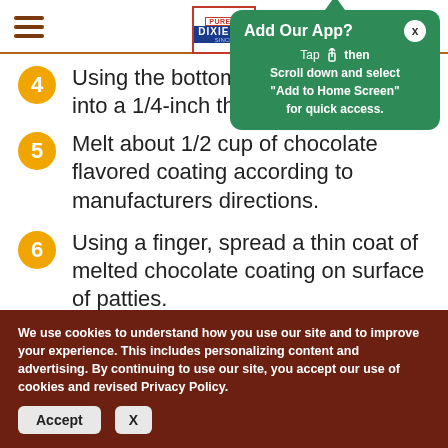Navigation menu | Dixie Crystals logo
[Figure (screenshot): Green popup bubble with triangle arrow pointing up, header 'Add Our App?' with close X button, body text: 'Tap [share icon] then Scroll down and select "Add to Home Screen" for quick access.']
4 Using the bottom [partially obscured]… into a 1/4-inch thi[ck disk]…
5 Melt about 1/2 cup of chocolate flavored coating according to manufacturers directions.
6 Using a finger, spread a thin coat of melted chocolate coating on surface of patties.
We use cookies to understand how you use our site and to improve your experience. This includes personalizing content and advertising. By continuing to use our site, you accept our use of cookies and revised Privacy Policy.
Accept  X